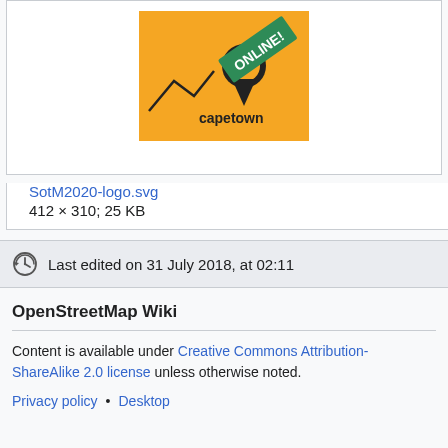[Figure (logo): SotM2020 logo: yellow/orange square background with a black map pin icon containing '10TH 2020' text, mountain silhouette and 'capetown' text, with a green diagonal banner reading 'ONLINE!']
SotM2020-logo.svg
412 × 310; 25 KB
Last edited on 31 July 2018, at 02:11
OpenStreetMap Wiki
Content is available under Creative Commons Attribution-ShareAlike 2.0 license unless otherwise noted.
Privacy policy • Desktop